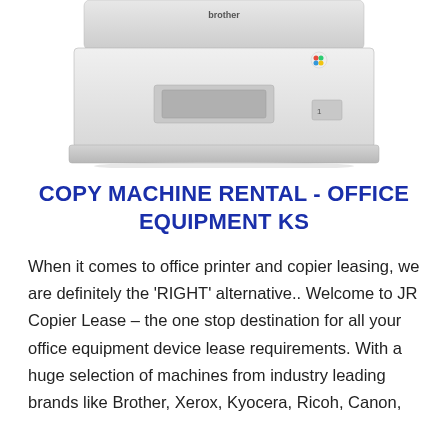[Figure (photo): Photo of a white Brother brand laser printer/copier, cropped showing the top and front portion of the device on a white background.]
COPY MACHINE RENTAL - OFFICE EQUIPMENT KS
When it comes to office printer and copier leasing, we are definitely the 'RIGHT' alternative.. Welcome to JR Copier Lease – the one stop destination for all your office equipment device lease requirements. With a huge selection of machines from industry leading brands like Brother, Xerox, Kyocera, Ricoh, Canon,